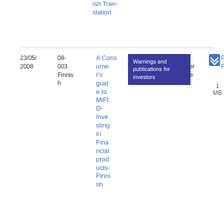ish Translation
| Date | Doc No. | Title | Category | Reference |  | Size |
| --- | --- | --- | --- | --- | --- | --- |
| 23/05/2008 | 08-003 Finnish | A Consumer's guide to MiFID-Investing in Financial products-Finnish | Warnings and publications for investors | Reference | PDF | 1 MB |
[Figure (other): Blue download icon button (double chevron down arrow in blue square)]